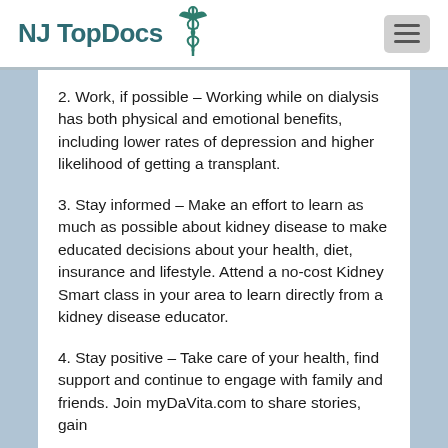NJ Top Docs
2. Work, if possible – Working while on dialysis has both physical and emotional benefits, including lower rates of depression and higher likelihood of getting a transplant.
3. Stay informed – Make an effort to learn as much as possible about kidney disease to make educated decisions about your health, diet, insurance and lifestyle. Attend a no-cost Kidney Smart class in your area to learn directly from a kidney disease educator.
4. Stay positive – Take care of your health, find support and continue to engage with family and friends. Join myDaVita.com to share stories, gain...